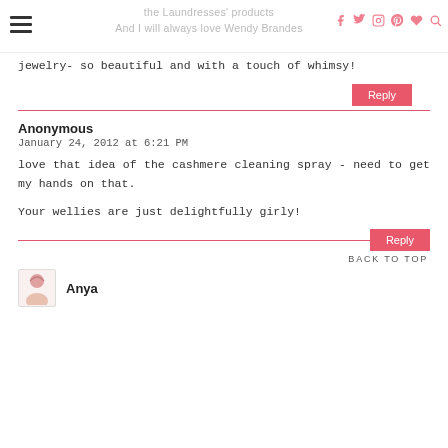the Laundresses' products And I will always love Wendy Brandes
jewelry- so beautiful and with a touch of whimsy!
Reply
Anonymous
January 24, 2012 at 6:21 PM
love that idea of the cashmere cleaning spray - need to get my hands on that.
Your wellies are just delightfully girly!
Reply
BACK TO TOP
Anya